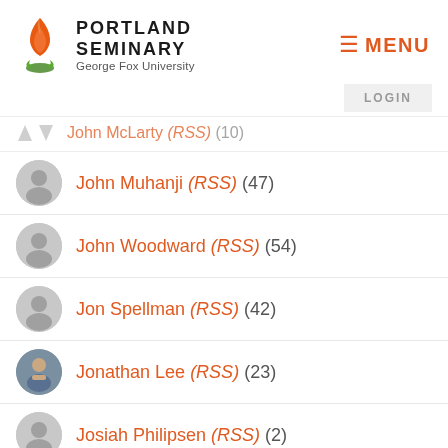[Figure (logo): Portland Seminary at George Fox University logo with orange flame icon]
≡ MENU
LOGIN
John McLarty (RSS) (10)
John Muhanji (RSS) (47)
John Woodward (RSS) (54)
Jon Spellman (RSS) (42)
Jonathan Lee (RSS) (23)
Josiah Philipsen (RSS) (2)